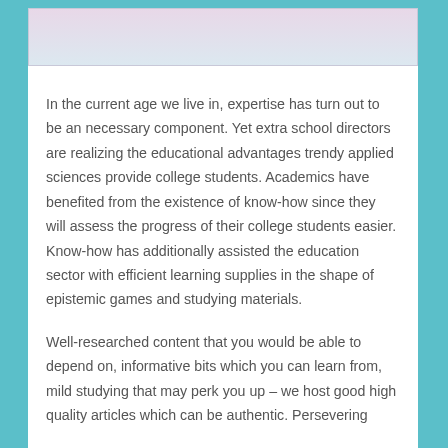[Figure (other): Light pink/lavender gradient banner header area at the top of the content box]
In the current age we live in, expertise has turn out to be an necessary component. Yet extra school directors are realizing the educational advantages trendy applied sciences provide college students. Academics have benefited from the existence of know-how since they will assess the progress of their college students easier. Know-how has additionally assisted the education sector with efficient learning supplies in the shape of epistemic games and studying materials.
Well-researched content that you would be able to depend on, informative bits which you can learn from, mild studying that may perk you up – we host good high quality articles which can be authentic. Persevering